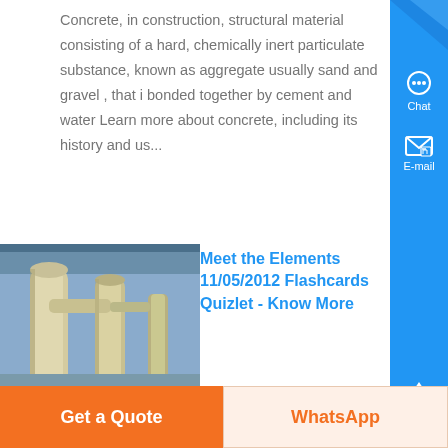Concrete, in construction, structural material consisting of a hard, chemically inert particulate substance, known as aggregate usually sand and gravel , that is bonded together by cement and water Learn more about concrete, including its history and us...
[Figure (photo): Industrial machinery with large pipes/silos in a factory setting]
Meet the Elements 11/05/2012 Flashcards Quizlet - Know More
Meet the Elements 11/05/2012 STUDY Flashcards Learn Write Spell Test PLAY Match Gravity Created by dmoss Terms in this set 19 What is the symbol for iron Fe...
Get a Quote
WhatsApp